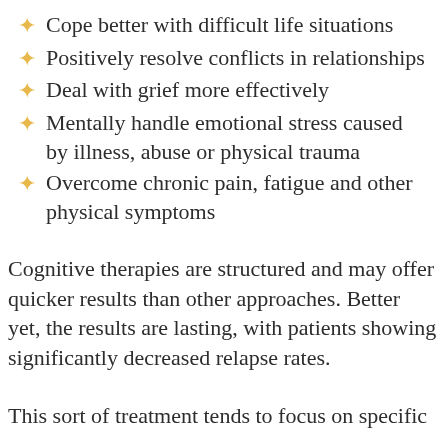Cope better with difficult life situations
Positively resolve conflicts in relationships
Deal with grief more effectively
Mentally handle emotional stress caused by illness, abuse or physical trauma
Overcome chronic pain, fatigue and other physical symptoms
Cognitive therapies are structured and may offer quicker results than other approaches. Better yet, the results are lasting, with patients showing significantly decreased relapse rates.
This sort of treatment tends to focus on specific